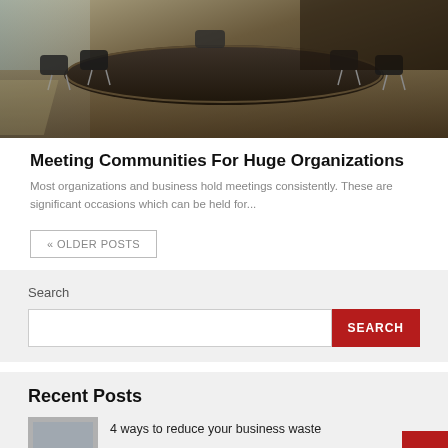[Figure (photo): Conference room with a long dark table and black office chairs, sunlight through windows]
Meeting Communities For Huge Organizations
Most organizations and business hold meetings consistently. These are significant occasions which can be held for...
« OLDER POSTS
Search
4 ways to reduce your business waste
Recent Posts